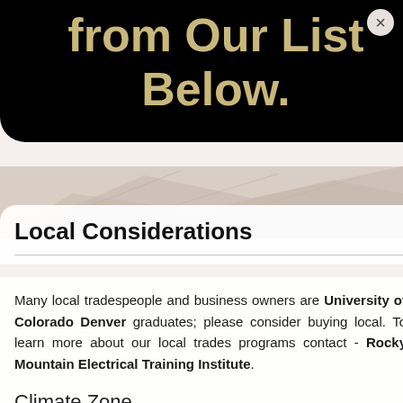from Our List Below.
Local Considerations
Many local tradespeople and business owners are University of Colorado Denver graduates; please consider buying local. To learn more about our local trades programs contact - Rocky Mountain Electrical Training Institute.
Climate Zone